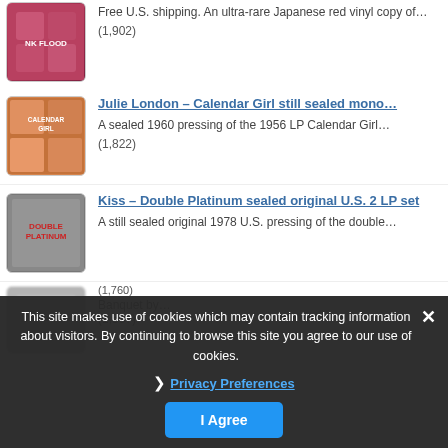[Figure (photo): Partial album cover image at top, pink/red tones]
Free U.S. shipping. An ultra-rare Japanese red vinyl copy of…
(1,902)
[Figure (photo): Julie London Calendar Girl album cover]
Julie London – Calendar Girl still sealed mono…
A sealed 1960 pressing of the 1956 LP Calendar Girl…
(1,822)
[Figure (photo): Kiss Double Platinum album cover]
Kiss – Double Platinum sealed original U.S. 2 LP set
A still sealed original 1978 U.S. pressing of the double…
(1,760)
Banquet by…
(1,537)
This site makes use of cookies which may contain tracking information about visitors. By continuing to browse this site you agree to our use of cookies.
Privacy Preferences
I Agree